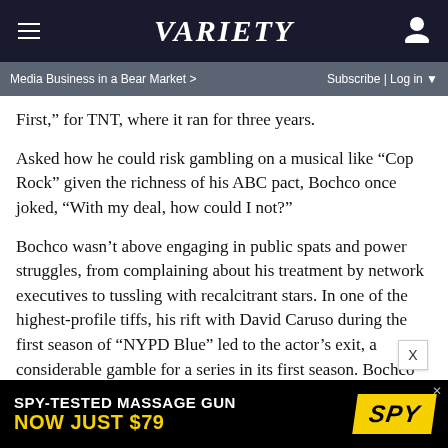VARIETY
Media Business in a Bear Market >  Subscribe | Log in
First,” for TNT, where it ran for three years.
Asked how he could risk gambling on a musical like “Cop Rock” given the richness of his ABC pact, Bochco once joked, “With my deal, how could I not?”
Bochco wasn’t above engaging in public spats and power struggles, from complaining about his treatment by network executives to tussling with recalcitrant stars. In one of the highest-profile tiffs, his rift with David Caruso during the first season of “NYPD Blue” led to the actor’s exit, a considerable gamble for a series in its first season. Bochco replaced him with former “L.A. Law” co-star Jimmy Smits, and the program went on to run for 11 years.
[Figure (infographic): Advertisement banner: SPY-TESTED MASSAGE GUN NOW JUST $79 with SPY logo on yellow background]